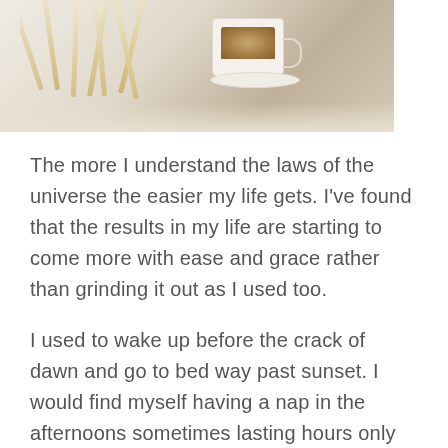[Figure (photo): Overhead photo of a white coffee cup with coffee, on a saucer, with wooden stir sticks or skewers scattered nearby on a white surface]
The more I understand the laws of the universe the easier my life gets. I've found that the results in my life are starting to come more with ease and grace rather than grinding it out as I used too.
I used to wake up before the crack of dawn and go to bed way past sunset. I would find myself having a nap in the afternoons sometimes lasting hours only to wake up and still feel like I had to drag my ass around to get things done. I had a to-do list a mile long and what I found myself doing was being addicted